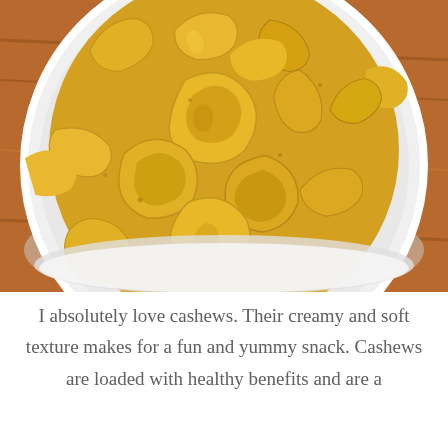[Figure (photo): A white ceramic bowl filled with golden-yellow roasted cashews, photographed from above on a wooden surface.]
I absolutely love cashews. Their creamy and soft texture makes for a fun and yummy snack. Cashews are loaded with healthy benefits and are a